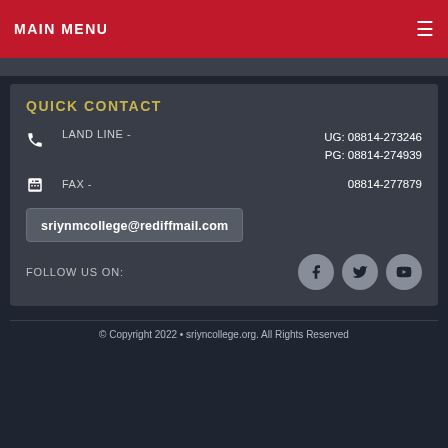MAIN MENU
QUICK CONTACT
LAND LINE -    UG: 08814-273246
PG: 08814-274939
FAX -    08814-277879
sriynmcollege@rediffmail.com
FOLLOW US ON:
© Copyright 2022 • sriyncollege.org. All Rights Reserved